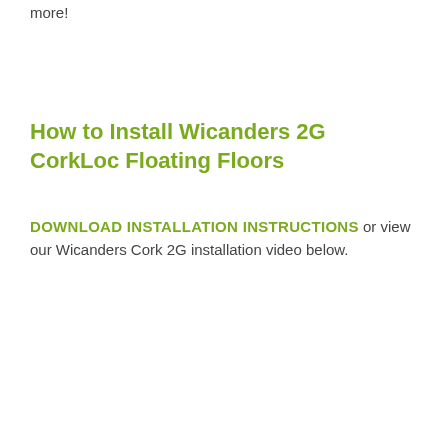more!
How to Install Wicanders 2G CorkLoc Floating Floors
DOWNLOAD INSTALLATION INSTRUCTIONS or view our Wicanders Cork 2G installation video below.